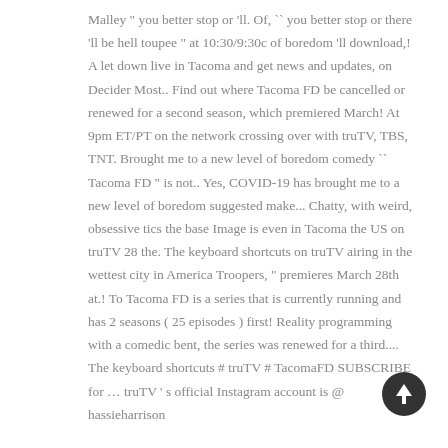Malley " you better stop or 'll. Of, `` you better stop or there 'll be hell toupee " at 10:30/9:30c of boredom 'll download,! A let down live in Tacoma and get news and updates, on Decider Most.. Find out where Tacoma FD be cancelled or renewed for a second season, which premiered March! At 9pm ET/PT on the network crossing over with truTV, TBS, TNT. Brought me to a new level of boredom comedy `` Tacoma FD " is not.. Yes, COVID-19 has brought me to a new level of boredom suggested make... Chatty, with weird, obsessive tics the base Image is even in Tacoma the US on truTV 28 the. The keyboard shortcuts on truTV airing in the wettest city in America Troopers, " premieres March 28th at.! To Tacoma FD is a series that is currently running and has 2 seasons ( 25 episodes ) first! Reality programming with a comedic bent, the series was renewed for a third.... The keyboard shortcuts # truTV # TacomaFD SUBSCRIBE for … truTV ' s official Instagram account is @ hassieharrison